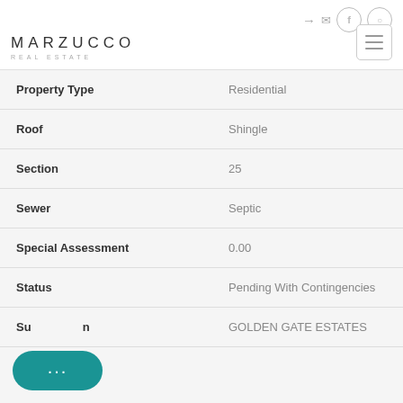MARZUCCO REAL ESTATE
| Property | Value |
| --- | --- |
| Property Type | Residential |
| Roof | Shingle |
| Section | 25 |
| Sewer | Septic |
| Special Assessment | 0.00 |
| Status | Pending With Contingencies |
| Subdivision | GOLDEN GATE ESTATES |